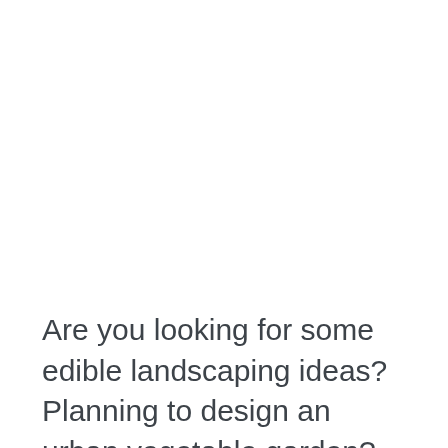Are you looking for some edible landscaping ideas? Planning to design an urban vegetable garden? There is no reason why everyone in the city can't